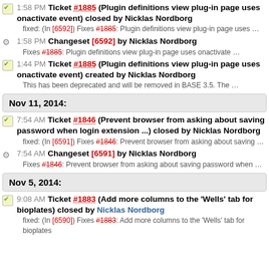1:58 PM Ticket #1885 (Plugin definitions view plug-in page uses onactivate event) closed by Nicklas Nordborg
 fixed: (In [6592]) Fixes #1885: Plugin definitions view plug-in page uses …
1:58 PM Changeset [6592] by Nicklas Nordborg
 Fixes #1885: Plugin definitions view plug-in page uses onactivate …
1:44 PM Ticket #1885 (Plugin definitions view plug-in page uses onactivate event) created by Nicklas Nordborg
 This has been deprecated and will be removed in BASE 3.5. The …
Nov 11, 2014:
7:54 AM Ticket #1846 (Prevent browser from asking about saving password when login extension ...) closed by Nicklas Nordborg
 fixed: (In [6591]) Fixes #1846: Prevent browser from asking about saving …
7:54 AM Changeset [6591] by Nicklas Nordborg
 Fixes #1846: Prevent browser from asking about saving password when …
Nov 5, 2014:
9:08 AM Ticket #1883 (Add more columns to the 'Wells' tab for bioplates) closed by Nicklas Nordborg
 fixed: (In [6590]) Fixes #1883: Add more columns to the 'Wells' tab for bioplates